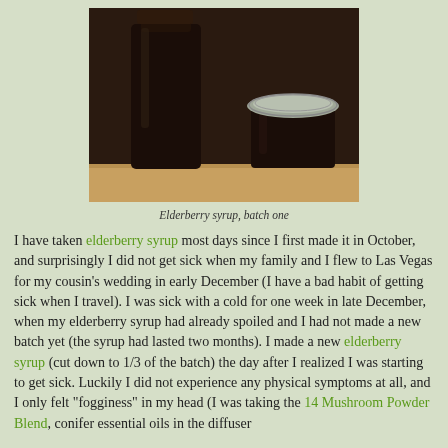[Figure (photo): Two dark glass containers of elderberry syrup on a wooden surface: a tall bottle on the left and a small mason jar with a silver lid on the right.]
Elderberry syrup, batch one
I have taken elderberry syrup most days since I first made it in October, and surprisingly I did not get sick when my family and I flew to Las Vegas for my cousin's wedding in early December (I have a bad habit of getting sick when I travel). I was sick with a cold for one week in late December, when my elderberry syrup had already spoiled and I had not made a new batch yet (the syrup had lasted two months). I made a new elderberry syrup (cut down to 1/3 of the batch) the day after I realized I was starting to get sick. Luckily I did not experience any physical symptoms at all, and I only felt "fogginess" in my head (I was taking the 14 Mushroom Powder Blend, conifer essential oils in the diffuser